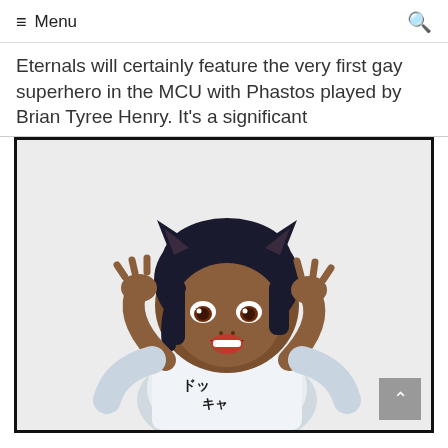≡ Menu 🔍
Eternals will certainly feature the very first gay superhero in the MCU with Phastos played by Brian Tyree Henry. It's a significant
[Figure (illustration): Anime-style illustration of a dark-skinned girl character with cat ears, black hair, wearing a white t-shirt with Japanese characters, making claw gestures with both hands and an open mouth expression. Set against a light background, framed with a thick black border.]